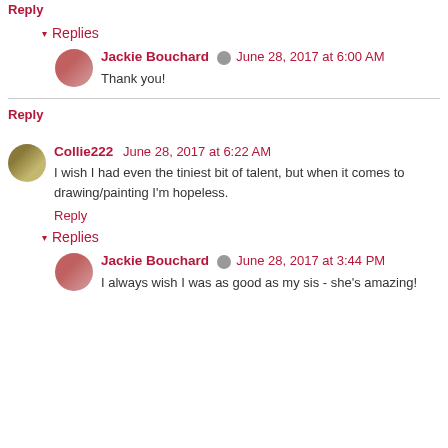Reply
▾ Replies
Jackie Bouchard  June 28, 2017 at 6:00 AM
Thank you!
Reply
Collie222  June 28, 2017 at 6:22 AM
I wish I had even the tiniest bit of talent, but when it comes to drawing/painting I'm hopeless.
Reply
▾ Replies
Jackie Bouchard  June 28, 2017 at 3:44 PM
I always wish I was as good as my sis - she's amazing!